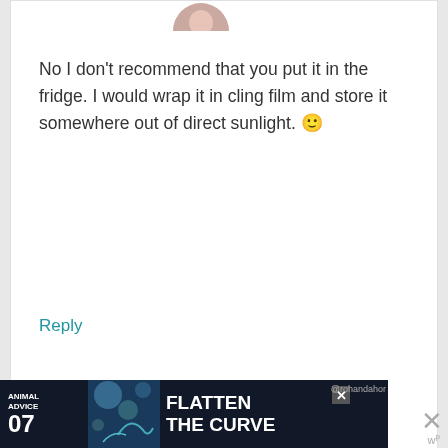[Figure (photo): Partial avatar/profile photo cropped at top of page]
No I don't recommend that you put it in the fridge. I would wrap it in cling film and store it somewhere out of direct sunlight. 🙂
Reply
[Figure (illustration): Generic grey circular avatar/profile placeholder for Yolanda]
Yolanda says
March 11, 2015 at 2:22 pm
[Figure (screenshot): Advertisement banner at the bottom: Animal Advice 07 - FLATTEN THE CURVE with decorative graphics and close buttons]